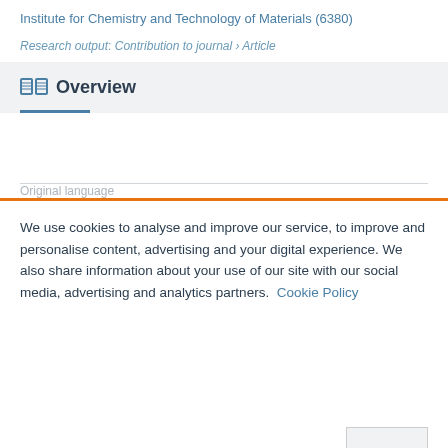Institute for Chemistry and Technology of Materials (6380)
Research output: Contribution to journal › Article
Overview
Original language
We use cookies to analyse and improve our service, to improve and personalise content, advertising and your digital experience. We also share information about your use of our site with our social media, advertising and analytics partners.  Cookie Policy